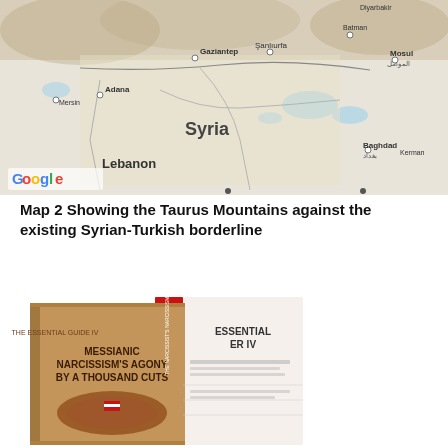[Figure (map): Google Maps screenshot showing Syria, Lebanon, Turkey border region including cities Adana, Mersin, Gaziantep, Sanliurfa, Batman, Mosul, Diyarbakir, and Baghdad. Shows Syrian-Turkish borderline and surrounding terrain.]
Map 2 Showing the Taurus Mountains against the existing Syrian-Turkish borderline
[Figure (photo): Book cover showing 'The Essential Guide IV: Messianic Narcissism's Agony by a Thousand Cuts' with an image of a steak shaped like the United States with an American flag on it, displayed as two books (front and spine view). Red spine book next to brown cover book.]